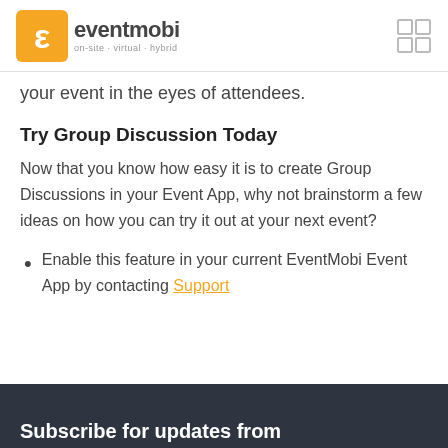eventmobi on-site · virtual · hybrid
your event in the eyes of attendees.
Try Group Discussion Today
Now that you know how easy it is to create Group Discussions in your Event App, why not brainstorm a few ideas on how you can try it out at your next event?
Enable this feature in your current EventMobi Event App by contacting Support
Subscribe for updates from